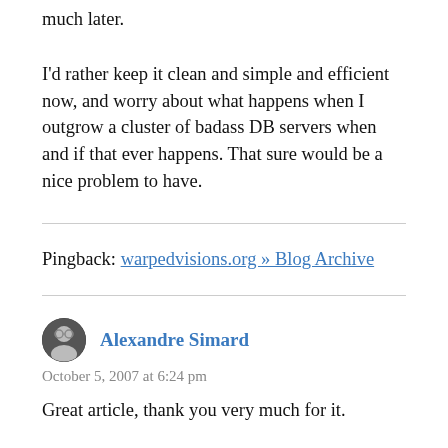much later.
I'd rather keep it clean and simple and efficient now, and worry about what happens when I outgrow a cluster of badass DB servers when and if that ever happens. That sure would be a nice problem to have.
Pingback: warpedvisions.org » Blog Archive
Alexandre Simard
October 5, 2007 at 6:24 pm
Great article, thank you very much for it.